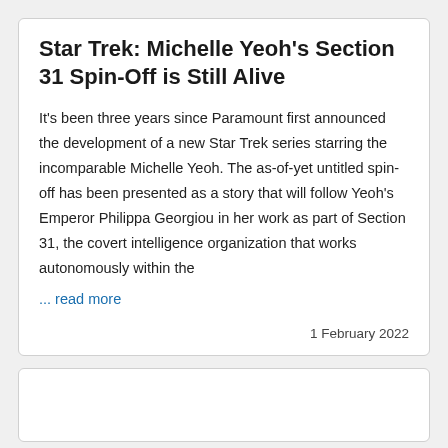Star Trek: Michelle Yeoh's Section 31 Spin-Off is Still Alive
It's been three years since Paramount first announced the development of a new Star Trek series starring the incomparable Michelle Yeoh. The as-of-yet untitled spin-off has been presented as a story that will follow Yeoh's Emperor Philippa Georgiou in her work as part of Section 31, the covert intelligence organization that works autonomously within the
... read more
1 February 2022